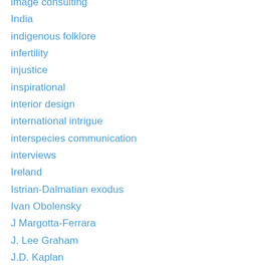image consulting
India
indigenous folklore
infertility
injustice
inspirational
interior design
international intrigue
interspecies communication
interviews
Ireland
Istrian-Dalmatian exodus
Ivan Obolensky
J Margotta-Ferrara
J. Lee Graham
J.D. Kaplan
J.M. Evenson
J.S. Graydon
Jacquie Gauthier
James Hankins